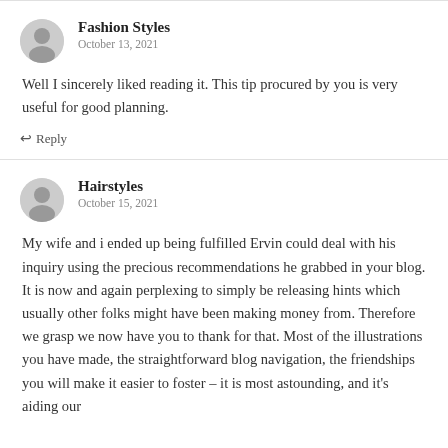Fashion Styles
October 13, 2021
Well I sincerely liked reading it. This tip procured by you is very useful for good planning.
↩ Reply
Hairstyles
October 15, 2021
My wife and i ended up being fulfilled Ervin could deal with his inquiry using the precious recommendations he grabbed in your blog. It is now and again perplexing to simply be releasing hints which usually other folks might have been making money from. Therefore we grasp we now have you to thank for that. Most of the illustrations you have made, the straightforward blog navigation, the friendships you will make it easier to foster – it is most astounding, and it's aiding our